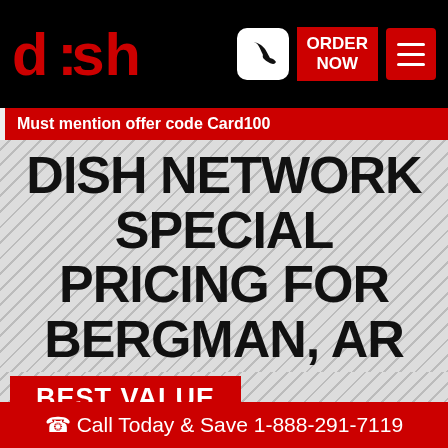dish | ORDER NOW
Must mention offer code Card100
DISH NETWORK SPECIAL PRICING FOR BERGMAN, AR
BEST VALUE
AMERICA'S
Call Today & Save 1-888-291-7119